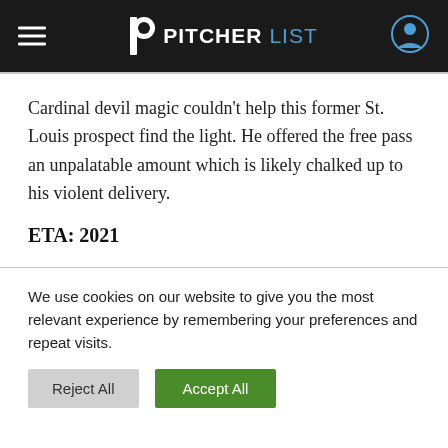PITCHERLIST
Cardinal devil magic couldn't help this former St. Louis prospect find the light. He offered the free pass an unpalatable amount which is likely chalked up to his violent delivery.
ETA: 2021
We use cookies on our website to give you the most relevant experience by remembering your preferences and repeat visits.